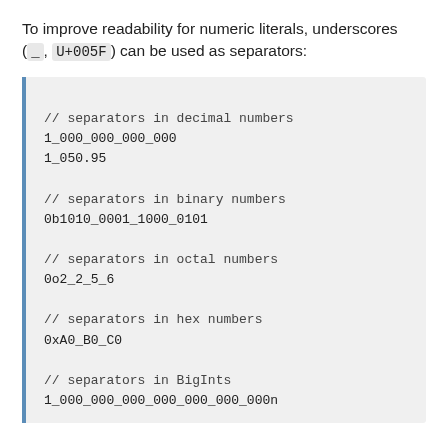To improve readability for numeric literals, underscores (_, U+005F) can be used as separators:
[Figure (screenshot): Code block showing underscore separators used in decimal, binary, octal, hex, and BigInt numeric literals in JavaScript]